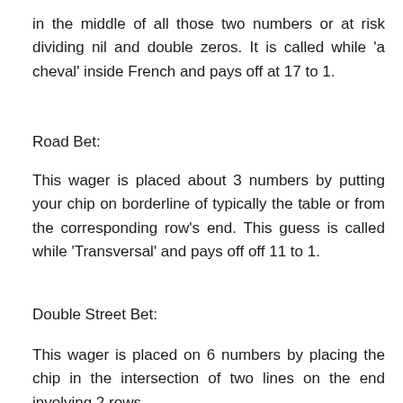in the middle of all those two numbers or at risk dividing nil and double zeros. It is called while 'a cheval' inside French and pays off at 17 to 1.
Road Bet:
This wager is placed about 3 numbers by putting your chip on borderline of typically the table or from the corresponding row's end. This guess is called while 'Transversal' and pays off off 11 to 1.
Double Street Bet:
This wager is placed on 6 numbers by placing the chip in the intersection of two lines on the end involving 2 rows.